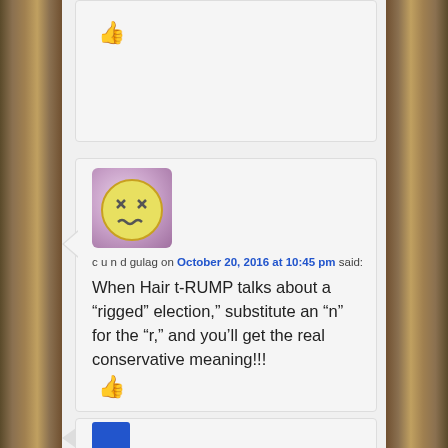[Figure (screenshot): Top of a comment card with a thumbs up icon in blue]
[Figure (screenshot): Comment card with dizzy face avatar, username 'c u n d gulag', dated October 20, 2016 at 10:45 pm, with comment text and thumbs up icon]
c u n d gulag on October 20, 2016 at 10:45 pm said:
When Hair t-RUMP talks about a “rigged” election,” substitute an “n” for the “r,” and you’ll get the real conservative meaning!!!
[Figure (screenshot): Bottom partial comment card with blue avatar image]